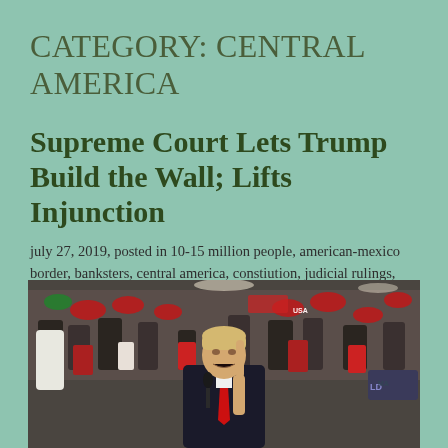CATEGORY: CENTRAL AMERICA
Supreme Court Lets Trump Build the Wall; Lifts Injunction
july 27, 2019, posted in 10-15 million people, american-mexico border, banksters, central america, constiution, judicial rulings, law, lawyers, legal, president, renew america, trump
[Figure (photo): Donald Trump speaking at a rally, pointing upward with one finger, wearing a suit and red tie, large crowd in background wearing MAGA hats and red/white clothing]